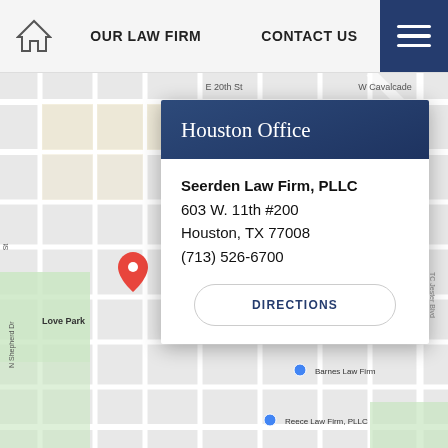OUR LAW FIRM   CONTACT US
[Figure (map): Google Maps street map showing Houston Heights neighborhood with streets E 20th St, W Cavalcade, N Shepherd Dr, TC Jester Blvd; markers for Love Park, Barnes Law Firm, Reece Law Firm PLLC, and a red pin location]
Houston Office
Seerden Law Firm, PLLC
603 W. 11th #200
Houston, TX 77008
(713) 526-6700
DIRECTIONS